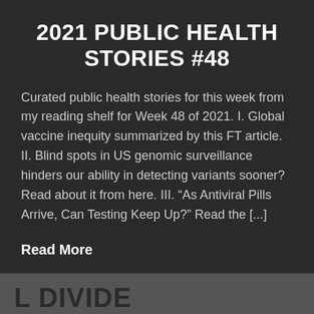2021 PUBLIC HEALTH STORIES #48
Curated public health stories for this week from my reading shelf for Week 48 of 2021. I. Global vaccine inequity summarized by this FT article. II. Blind spots in US genomic surveillance hinders our ability in detecting variants sooner? Read about it from here. III. “As Antiviral Pills Arrive, Can Testing Keep Up?” Read the [...]
Read More
L DIVIDE